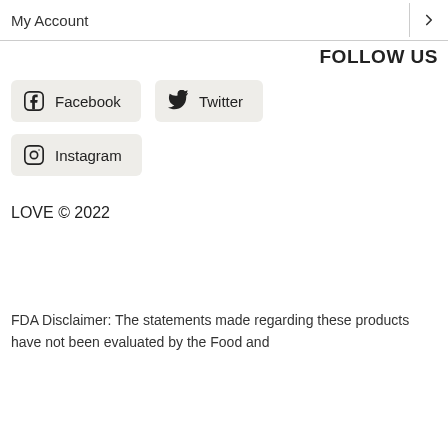My Account
FOLLOW US
Facebook
Twitter
Instagram
LOVE © 2022
FDA Disclaimer: The statements made regarding these products have not been evaluated by the Food and